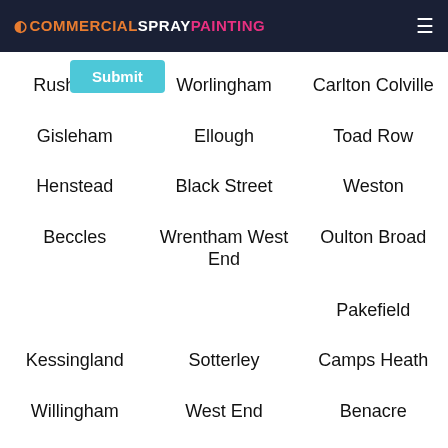COMMERCIALSPRAYPAINTING
Rushmore
Worlingham
Carlton Colville
Gisleham
Ellough
Toad Row
Henstead
Black Street
Weston
Beccles
Wrentham West End
Oulton Broad
Pakefield
Kessingland
Sotterley
Camps Heath
Willingham
West End
Benacre
Kirkley
Cuckolds Green
Normanston
Ringsfield Corner
Shadingfield
Oulton